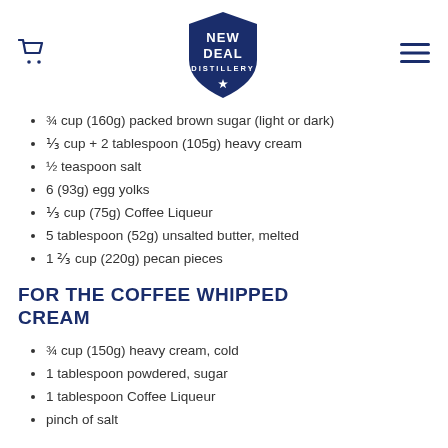New Deal Distillery logo with cart and hamburger menu
¾ cup (160g) packed brown sugar (light or dark)
⅓ cup + 2 tablespoon (105g) heavy cream
½ teaspoon salt
6 (93g) egg yolks
⅓ cup (75g) Coffee Liqueur
5 tablespoon (52g) unsalted butter, melted
1 ⅔ cup (220g) pecan pieces
FOR THE COFFEE WHIPPED CREAM
¾ cup (150g) heavy cream, cold
1 tablespoon powdered, sugar
1 tablespoon Coffee Liqueur
pinch of salt